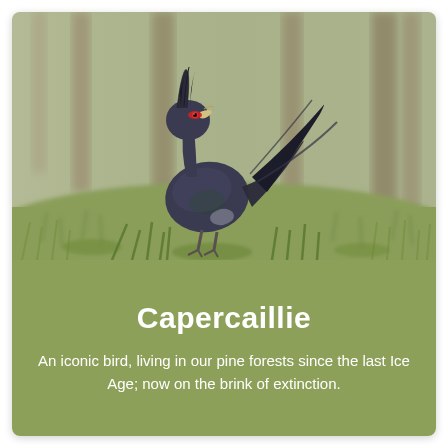[Figure (photo): A capercaillie bird (large black grouse) photographed in a forest floor setting with grass, moss, and blurred trees in the background. The bird has dark plumage, a red eye patch, and is displayed with its beak open and tail fanned upward.]
Capercaillie
An iconic bird, living in our pine forests since the last Ice Age; now on the brink of extinction.